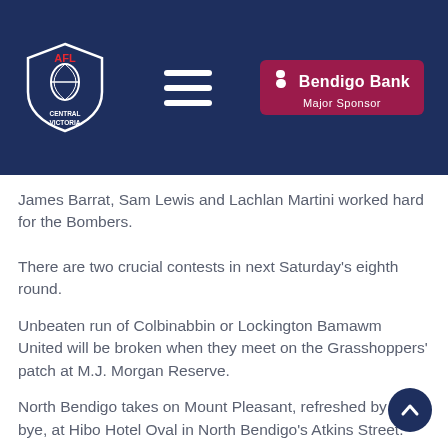[Figure (logo): AFL Central Victoria shield logo with hamburger menu and Bendigo Bank Major Sponsor badge on dark navy header bar]
James Barrat, Sam Lewis and Lachlan Martini worked hard for the Bombers.
There are two crucial contests in next Saturday's eighth round.
Unbeaten run of Colbinabbin or Lockington Bamawm United will be broken when they meet on the Grasshoppers' patch at M.J. Morgan Reserve.
North Bendigo takes on Mount Pleasant, refreshed by the bye, at Hibo Hotel Oval in North Bendigo's Atkins Street.
It's the showdown between the Demons and Bombers as White Hills hosts Leitchville-